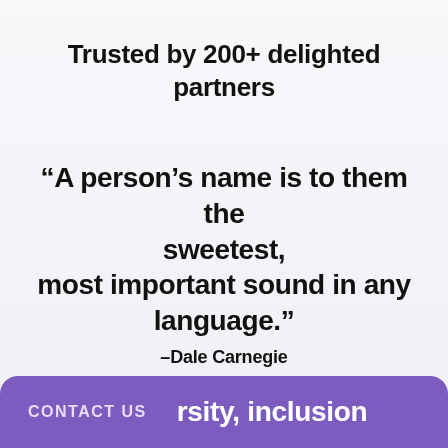Trusted by 200+ delighted partners
“A person’s name is to them the sweetest, most important sound in any language.” –Dale Carnegie
CONTACT US   rsity, inclusion